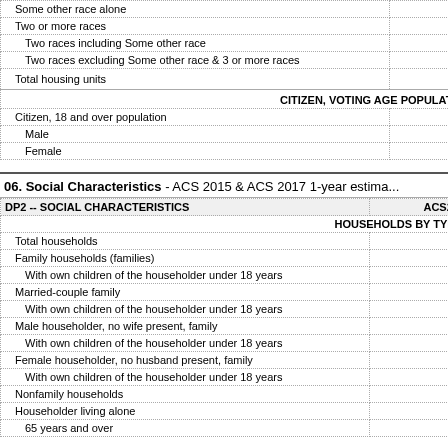|  |  |
| --- | --- |
| Some other race alone |  |
| Two or more races | 1 |
| Two races including Some other race |  |
| Two races excluding Some other race & 3 or more races | 1 |
| Total housing units | 33 |
|  |  |
| --- | --- |
| CITIZEN, VOTING AGE POPULATION |  |
| Citizen, 18 and over population |  |
| Male |  |
| Female |  |
06. Social Characteristics - ACS 2015 & ACS 2017 1-year estima...
| DP2 -- SOCIAL CHARACTERISTICS | ACS2... |
| --- | --- |
| HOUSEHOLDS BY TYPE |  |
| Total households | 32 |
| Family households (families) | 26 |
| With own children of the householder under 18 years | 14 |
| Married-couple family | 21 |
| With own children of the householder under 18 years | 11 |
| Male householder, no wife present, family | 1 |
| With own children of the householder under 18 years |  |
| Female householder, no husband present, family | 3 |
| With own children of the householder under 18 years | 2 |
| Nonfamily households | 6 |
| Householder living alone | 4 |
| 65 years and over | 1 |